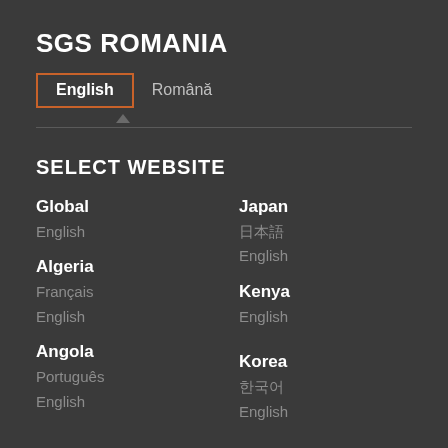SGS ROMANIA
English | Română
SELECT WEBSITE
Global
English
Japan
日本語
English
Algeria
Français
English
Kenya
English
Angola
Português
English
Korea
한국어
English